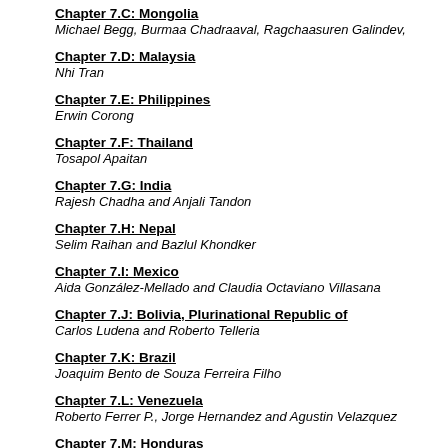Chapter 7.C: Mongolia
Michael Begg, Burmaa Chadraaval, Ragchaasuren Galindev,
Chapter 7.D: Malaysia
Nhi Tran
Chapter 7.E: Philippines
Erwin Corong
Chapter 7.F: Thailand
Tosapol Apaitan
Chapter 7.G: India
Rajesh Chadha and Anjali Tandon
Chapter 7.H: Nepal
Selim Raihan and Bazlul Khondker
Chapter 7.I: Mexico
Aida González-Mellado and Claudia Octaviano Villasana
Chapter 7.J: Bolivia, Plurinational Republic of
Carlos Ludena and Roberto Telleria
Chapter 7.K: Brazil
Joaquim Bento de Souza Ferreira Filho
Chapter 7.L: Venezuela
Roberto Ferrer P., Jorge Hernandez and Agustin Velazquez
Chapter 7.M: Honduras
José E.Duran Lima, Mauricio Pereira Flores, Gonzalo R. Véliz